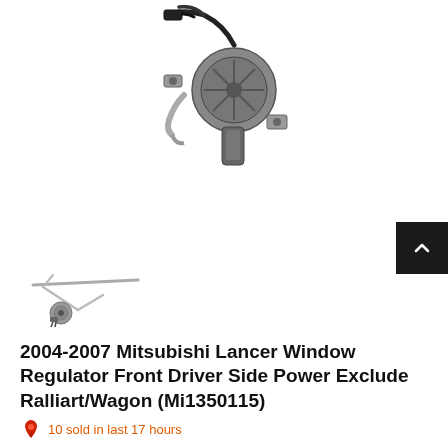[Figure (photo): Automotive window regulator motor assembly with black wiring harness and metal bracket, shown from above on white background]
[Figure (photo): Small thumbnail image of window regulator mechanism showing track and arm assembly]
2004-2007 Mitsubishi Lancer Window Regulator Front Driver Side Power Exclude Ralliart/Wagon (Mi1350115)
10 sold in last 17 hours